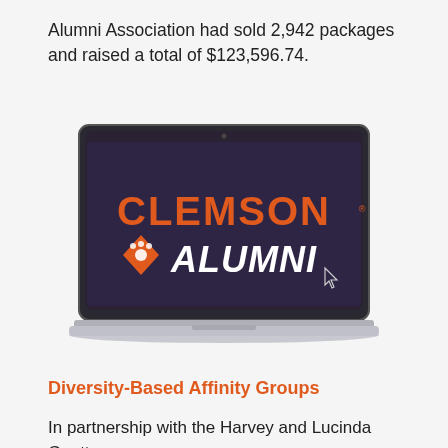Alumni Association had sold 2,942 packages and raised a total of $123,596.74.
[Figure (photo): A laptop computer displaying the Clemson Alumni logo — orange CLEMSON text above a white italic ALUMNI text with an orange diamond and paw print icon on a dark purple/navy screen background.]
Diversity-Based Affinity Groups
In partnership with the Harvey and Lucinda Gantt